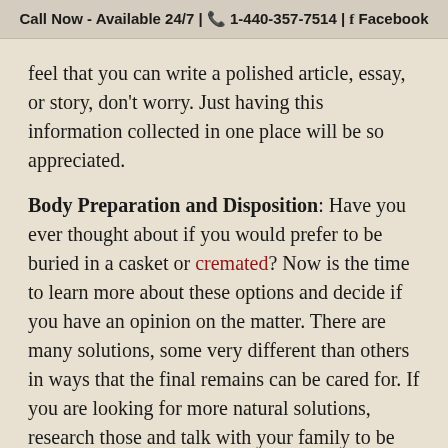Call Now - Available 24/7 | ☎ 1-440-357-7514 | f Facebook
feel that you can write a polished article, essay, or story, don't worry. Just having this information collected in one place will be so appreciated.
Body Preparation and Disposition: Have you ever thought about if you would prefer to be buried in a casket or cremated? Now is the time to learn more about these options and decide if you have an opinion on the matter. There are many solutions, some very different than others in ways that the final remains can be cared for. If you are looking for more natural solutions, research those and talk with your family to be sure they understand why this feels important to you.
Many families choose to purchase burial plots as a grouping so that you will all be located near one another when the time comes. Of course, this is